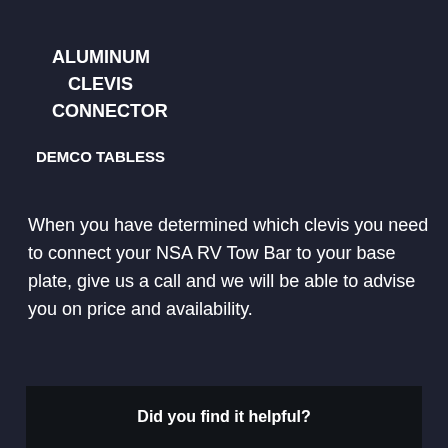ALUMINUM CLEVIS CONNECTOR
DEMCO TABLESS
When you have determined which clevis you need to connect your NSA RV Tow Bar to your base plate, give us a call and we will be able to advise you on price and availability.
Did you find it helpful?